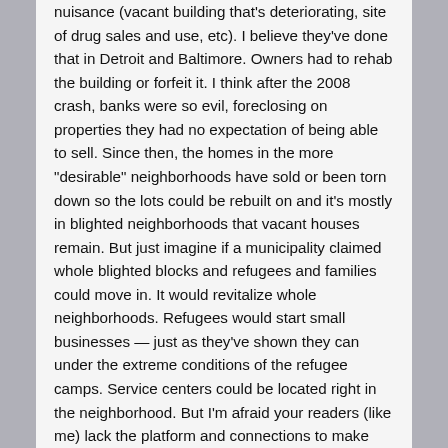nuisance (vacant building that's deteriorating, site of drug sales and use, etc). I believe they've done that in Detroit and Baltimore. Owners had to rehab the building or forfeit it. I think after the 2008 crash, banks were so evil, foreclosing on properties they had no expectation of being able to sell. Since then, the homes in the more "desirable" neighborhoods have sold or been torn down so the lots could be rebuilt on and it's mostly in blighted neighborhoods that vacant houses remain. But just imagine if a municipality claimed whole blighted blocks and refugees and families could move in. It would revitalize whole neighborhoods. Refugees would start small businesses — just as they've shown they can under the extreme conditions of the refugee camps. Service centers could be located right in the neighborhood. But I'm afraid your readers (like me) lack the platform and connections to make this happen, but if anyone knows of and can identify blighted properties, we can pressure local officials to take possession of such houses. One at a time. One